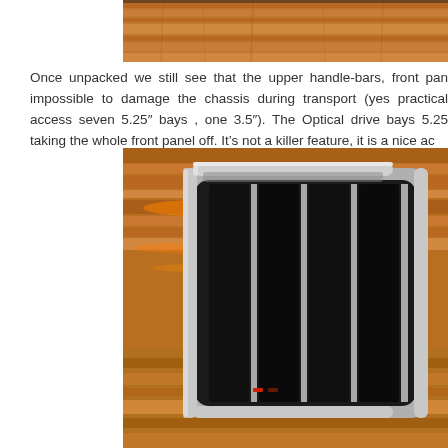[Figure (photo): Top portion of a computer case with wooden floor background, showing upper handle area, cropped at the top of the page.]
Once unpacked we still see that the upper handle-bars, front pan impossible to damage the chassis during transport (yes practical access seven 5.25” bays , one 3.5”). The Optical drive bays 5.25 taking the whole front panel off. It’s not a killer feature, it is a nice ac
[Figure (photo): A large computer tower case (likely a server or enthusiast case) lying on a wooden floor, showing the front/side panel with silver frame and black mesh/panels, with orange reflections from the wooden floor visible.]